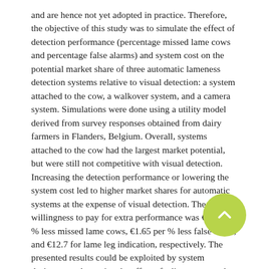and are hence not yet adopted in practice. Therefore, the objective of this study was to simulate the effect of detection performance (percentage missed lame cows and percentage false alarms) and system cost on the potential market share of three automatic lameness detection systems relative to visual detection: a system attached to the cow, a walkover system, and a camera system. Simulations were done using a utility model derived from survey responses obtained from dairy farmers in Flanders, Belgium. Overall, systems attached to the cow had the largest market potential, but were still not competitive with visual detection. Increasing the detection performance or lowering the system cost led to higher market shares for automatic systems at the expense of visual detection. The willingness to pay for extra performance was €2.57 per % less missed lame cows, €1.65 per % less false alerts, and €12.7 for lame leg indication, respectively. The presented results could be exploited by system designers to determine the effect of adjustments to the technology on a system's potential